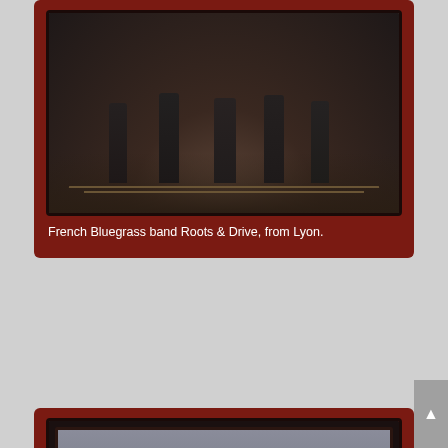[Figure (photo): Band photo of French Bluegrass band Roots & Drive, from Lyon. Group of musicians standing outdoors on railway tracks in dark clothing.]
French Bluegrass band Roots & Drive, from Lyon.
[Figure (photo): Indoor performance photo of The Muddy Hill Boys playing guitars and singing together. Photo credit: Bass Millet © Février 2016]
The Muddy Hill Boys, old fashion American music